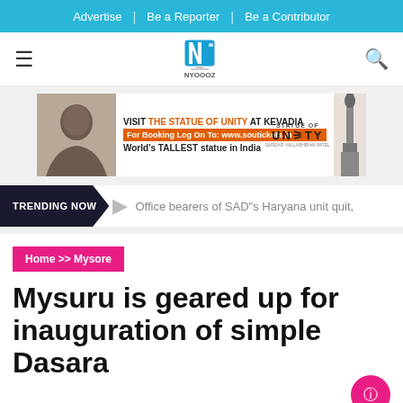Advertise | Be a Reporter | Be a Contributor
[Figure (logo): NYOOOZ news website logo with blue N icon and tagline 'My City My News']
[Figure (infographic): Advertisement banner for Statue of Unity at Kevadia. Text: VISIT THE STATUE OF UNITY AT KEVADIA, For Booking Log On To: www.soutickets.in, World's TALLEST statue in India]
TRENDING NOW   Office bearers of SAD"s Haryana unit quit,
Home >> Mysore
Mysuru is geared up for inauguration of simple Dasara